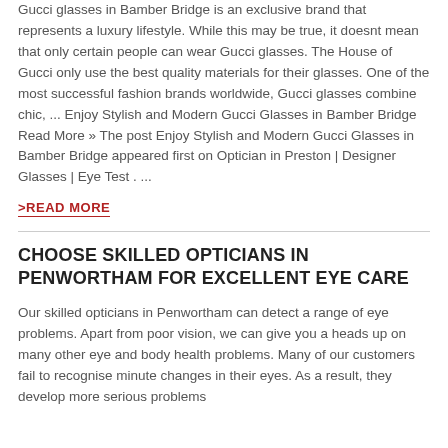Gucci glasses in Bamber Bridge is an exclusive brand that represents a luxury lifestyle. While this may be true, it doesnt mean that only certain people can wear Gucci glasses. The House of Gucci only use the best quality materials for their glasses. One of the most successful fashion brands worldwide, Gucci glasses combine chic, ... Enjoy Stylish and Modern Gucci Glasses in Bamber Bridge Read More » The post Enjoy Stylish and Modern Gucci Glasses in Bamber Bridge appeared first on Optician in Preston | Designer Glasses | Eye Test . ...
>READ MORE
CHOOSE SKILLED OPTICIANS IN PENWORTHAM FOR EXCELLENT EYE CARE
Our skilled opticians in Penwortham can detect a range of eye problems. Apart from poor vision, we can give you a heads up on many other eye and body health problems. Many of our customers fail to recognise minute changes in their eyes. As a result, they develop more serious problems